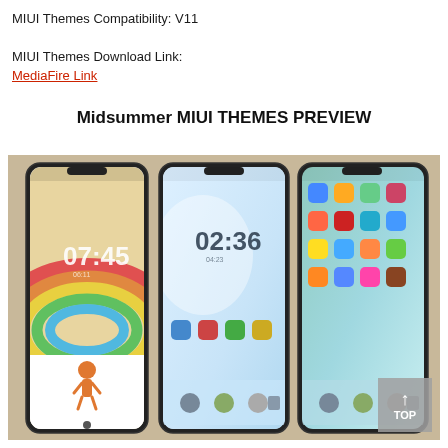MIUI Themes Compatibility: V11
MIUI Themes Download Link:
MediaFire Link
Midsummer MIUI THEMES PREVIEW
[Figure (screenshot): Three smartphone screens showing the Midsummer MIUI theme preview. Left phone shows a lock screen with a rainbow background and a cartoon character, displaying time 07:45. Middle phone shows a home screen with light blue gradient background displaying time 02:36 and app icons at the bottom. Right phone shows an app drawer/home screen with colorful app icons on a teal/blue gradient background.]